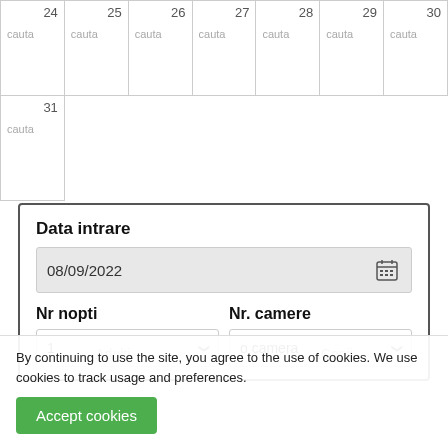| 24 | 25 | 26 | 27 | 28 | 29 | 30 |
| --- | --- | --- | --- | --- | --- | --- |
| cauta | cauta | cauta | cauta | cauta | cauta | cauta |
| 31 cauta |  |  |  |  |  |  |
Data intrare
08/09/2022
Nr nopti
Nr. camere
1
o camera
By continuing to use the site, you agree to the use of cookies. We use cookies to track usage and preferences.
Accept cookies